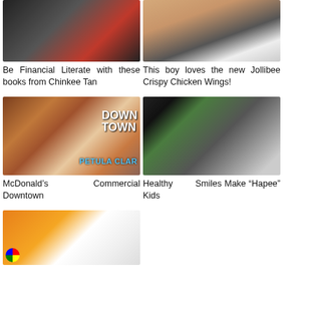[Figure (photo): Books photo, partially visible at top]
Be Financial Literate with these books from Chinkee Tan
[Figure (photo): Boy holding food, Jollibee Crispy Chicken Wings]
This boy loves the new Jollibee Crispy Chicken Wings!
[Figure (photo): Petula Clark Downtown album cover]
McDonald’s Commercial Downtown
[Figure (photo): Woman smiling outdoors on porch swing]
Healthy Smiles Make “Hapee” Kids
[Figure (photo): Orange and white document/product image, partially visible]